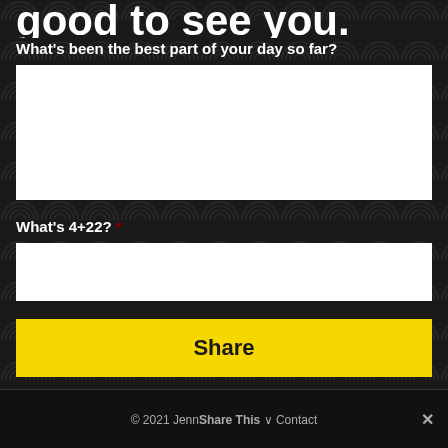good to see you.
What's been the best part of your day so far?
What's 4+22? *
Share
© 2021 Jenn[...] Share This ∨ Contact ✕